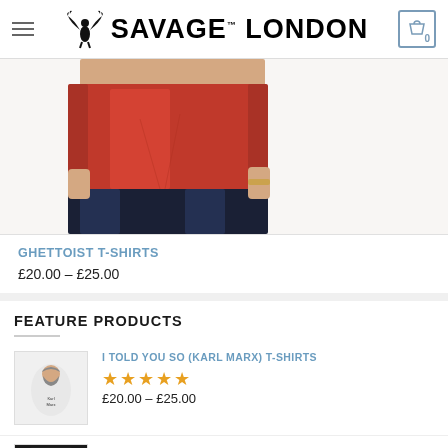Savage London — Navigation header with hamburger menu, logo, and cart icon showing 0
[Figure (photo): Person wearing a red t-shirt with dark jeans, hands in pockets, cropped to show torso only]
GHETTOIST T-SHIRTS
£20.00 – £25.00
FEATURE PRODUCTS
[Figure (photo): Thumbnail of white t-shirt with Karl Marx graphic print]
I TOLD YOU SO (KARL MARX) T-SHIRTS
★★★★★ (star rating)
£20.00 – £25.00
[Figure (photo): Thumbnail of dark/black t-shirt, partially visible at bottom of page]